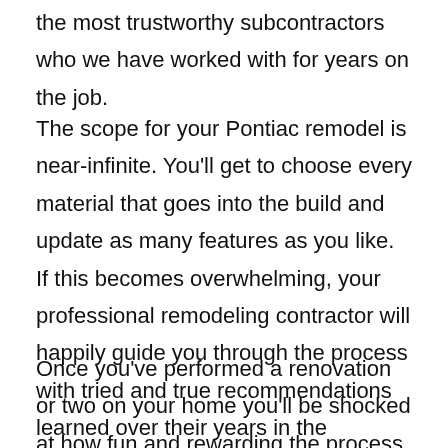the most trustworthy subcontractors who we have worked with for years on the job.
The scope for your Pontiac remodel is near-infinite. You'll get to choose every material that goes into the build and update as many features as you like. If this becomes overwhelming, your professional remodeling contractor will happily guide you through the process with tried and true recommendations learned over their years in the industry.
Once you've performed a renovation or two on your home you'll be shocked at how fun and rewarding the process is! Not all remodeling projects are created